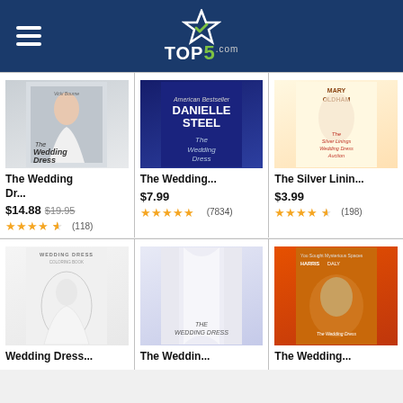TOP5.com
[Figure (photo): Book cover: The Wedding Dress how-to guide with woman in wedding dress]
The Wedding Dr...
$14.88  $19.95  (118) 4.5 stars
[Figure (photo): Book cover: The Wedding Dress by Danielle Steel, dark blue cover]
The Wedding...
$7.99  (7834) 5 stars
[Figure (photo): Book cover: The Silver Linings Wedding Dress Auction by Mary Oldham]
The Silver Linin...
$3.99  (198) 4 stars
[Figure (photo): Book cover: Wedding Dress coloring book with bride in gown]
Wedding Dress...
[Figure (photo): Book cover: The Wedding Dress novel, white/bride on cover]
The Weddin...
[Figure (photo): Movie cover: The Wedding Dress, warm tones with male figure]
The Wedding...